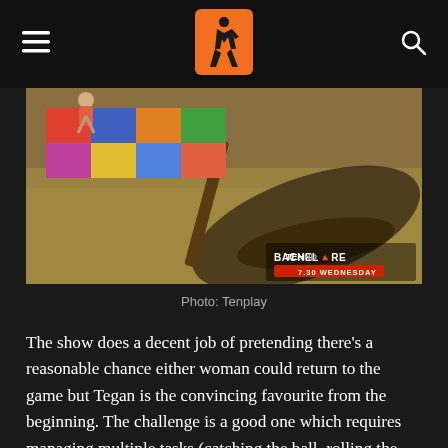Surviving the Matrix — navigation header with logo, hamburger menu, and search icon
[Figure (photo): Aerial or overhead shot of a challenge scene from The Bachelor Australia, showing colorful quilt/blanket and a large broom or brush on dry grass. TV watermark reads 'BACHELOR' and '7.30 WEDNESDAY' in bottom right corner.]
Photo: Tenplay
The show does a decent job of pretending there’s a reasonable chance either woman could return to the game but Tegan is the convincing favourite from the beginning. The challenge is a good one which requires managing multiple tasks (catching the ball, rolling the ball, fetching tower blocks, building the tower) and allows suspense to build. I was personally surprised there was no mention or idea of Tegan returning to the game on the Champions tribe since they are present to watch the Anita-Tegan showdown